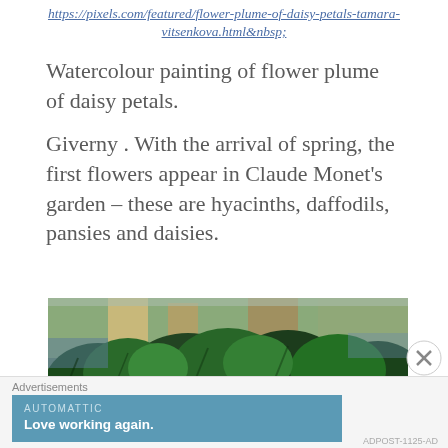https://pixels.com/featured/flower-plume-of-daisy-petals-tamara-vitsenkova.html&nbsp;
Watercolour painting of flower plume of daisy petals.
Giverny . With the arrival of spring, the first flowers appear in Claude Monet's garden – these are hyacinths, daffodils, pansies and daisies.
[Figure (photo): Watercolour painting of a garden scene with lush green foliage and red flowers, in the style of Claude Monet's garden at Giverny.]
Advertisements
AUTOMATTIC
Love working again.